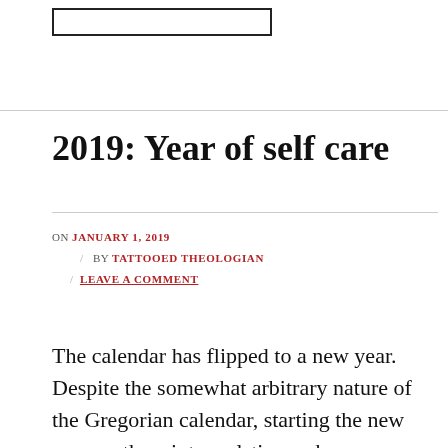[Figure (other): Empty rectangular box outline, likely a placeholder for an image or logo]
2019: Year of self care
ON JANUARY 1, 2019 / BY TATTOOED THEOLOGIAN / LEAVE A COMMENT
The calendar has flipped to a new year. Despite the somewhat arbitrary nature of the Gregorian calendar, starting the new year on the winter solstice makes more